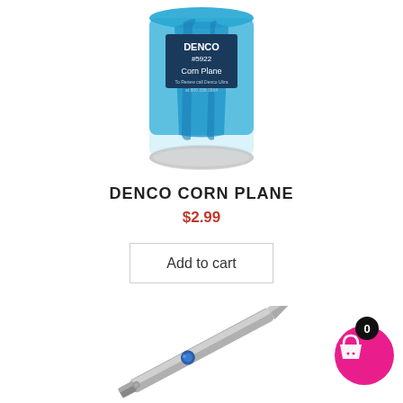[Figure (photo): Denco Corn Plane product in blue cylindrical container with label showing DENCO #5922 Corn Plane]
DENCO CORN PLANE
$2.99
Add to cart
[Figure (photo): Metal corn plane tool with blue bead detail on handle, shown diagonally]
[Figure (other): Pink circular shopping cart button with black badge showing 0 items]